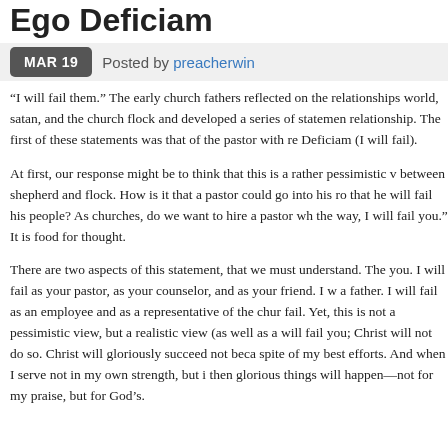Ego Deficiam
MAR 19  Posted by preacherwin
“I will fail them.” The early church fathers reflected on the relationships world, satan, and the church flock and developed a series of statements relationship. The first of these statements was that of the pastor with re Deficiam (I will fail).
At first, our response might be to think that this is a rather pessimistic view between shepherd and flock. How is it that a pastor could go into his role that he will fail his people? As churches, do we want to hire a pastor who the way, I will fail you.” It is food for thought.
There are two aspects of this statement, that we must understand. The you. I will fail as your pastor, as your counselor, and as your friend. I will a father. I will fail as an employee and as a representative of the church fail. Yet, this is not a pessimistic view, but a realistic view (as well as a will fail you; Christ will not do so. Christ will gloriously succeed not because spite of my best efforts. And when I serve not in my own strength, but in then glorious things will happen—not for my praise, but for God’s.